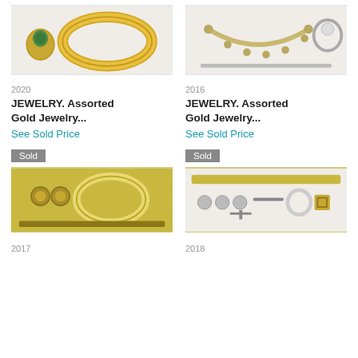[Figure (photo): Gold ring with green stone and gold bangle bracelet on white background]
2020
JEWELRY. Assorted Gold Jewelry...
See Sold Price
[Figure (photo): Assorted gold jewelry including necklace, bracelet, and ring on white background]
2016
JEWELRY. Assorted Gold Jewelry...
See Sold Price
[Figure (photo): Gold jewelry including earrings, bangle, and watch on dark background with Sold badge]
2017
[Figure (photo): Assorted gold jewelry items including bracelet, pins, buttons on white background with Sold badge]
2018